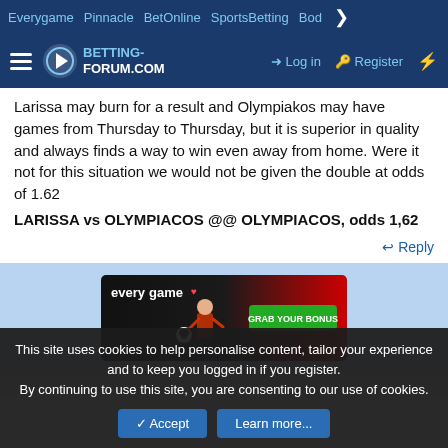Everygame | Pinnacle | BetOnline | SportsBetting | Bod >
BETTING-FORUM.COM | Log in | Register
Larissa may burn for a result and Olympiakos may have games from Thursday to Thursday, but it is superior in quality and always finds a way to win even away from home. Were it not for this situation we would not be given the double at odds of 1.62
LARISSA vs OLYMPIACOS @@ OLYMPIACOS, odds 1,62
Reply
[Figure (infographic): Everygame advertisement banner with 'GRAB YOUR BONUS' green button and soccer player image]
This site uses cookies to help personalise content, tailor your experience and to keep you logged in if you register.
By continuing to use this site, you are consenting to our use of cookies.
Accept | Learn more...